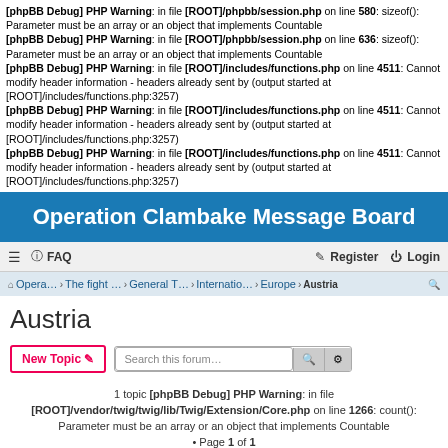[phpBB Debug] PHP Warning: in file [ROOT]/phpbb/session.php on line 580: sizeof(): Parameter must be an array or an object that implements Countable
[phpBB Debug] PHP Warning: in file [ROOT]/phpbb/session.php on line 636: sizeof(): Parameter must be an array or an object that implements Countable
[phpBB Debug] PHP Warning: in file [ROOT]/includes/functions.php on line 4511: Cannot modify header information - headers already sent by (output started at [ROOT]/includes/functions.php:3257)
[phpBB Debug] PHP Warning: in file [ROOT]/includes/functions.php on line 4511: Cannot modify header information - headers already sent by (output started at [ROOT]/includes/functions.php:3257)
[phpBB Debug] PHP Warning: in file [ROOT]/includes/functions.php on line 4511: Cannot modify header information - headers already sent by (output started at [ROOT]/includes/functions.php:3257)
Operation Clambake Message Board
FAQ  Register  Login
Opera... › The fight ... › General T... › Internatio... › Europe › Austria
Austria
New Topic  Search this forum…
1 topic [phpBB Debug] PHP Warning: in file [ROOT]/vendor/twig/twig/lib/Twig/Extension/Core.php on line 1266: count(): Parameter must be an array or an object that implements Countable • Page 1 of 1
Announcements
OCMB FAQ
Last post by admin « Sun Jul 24, 2005 9:58 pm